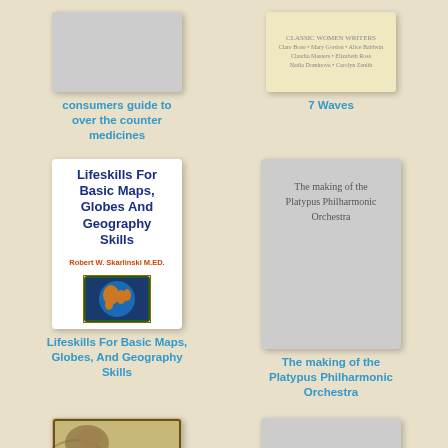[Figure (illustration): Book cover placeholder for consumers guide to over the counter medicines - light gray rectangle]
consumers guide to over the counter medicines
[Figure (illustration): Book cover with cream/tan background for 7 Waves with small text about women writers]
7 Waves
[Figure (illustration): Book cover: Lifeskills For Basic Maps, Globes And Geography Skills by Robert W. Skarlinski M.ED. White cover with globe image]
Lifeskills For Basic Maps, Globes, And Geography Skills
[Figure (illustration): Book cover placeholder light gray for The making of the Platypus Philharmonic Orchestra]
The making of the Platypus Philharmonic Orchestra
[Figure (illustration): Book cover for Lost Treasure with illustrated map and creature design]
Lost Treasure
[Figure (illustration): Book cover placeholder light gray for Mother goose for grown-ups.]
Mother goose for grown-ups.